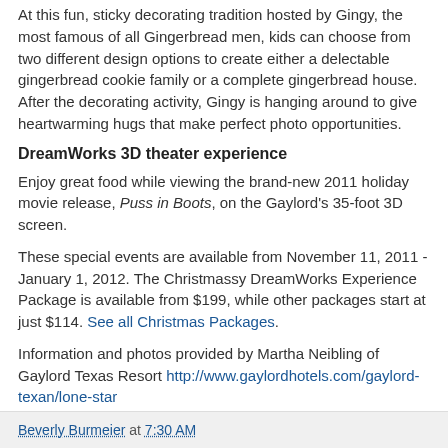At this fun, sticky decorating tradition hosted by Gingy, the most famous of all Gingerbread men, kids can choose from two different design options to create either a delectable gingerbread cookie family or a complete gingerbread house. After the decorating activity, Gingy is hanging around to give heartwarming hugs that make perfect photo opportunities.
DreamWorks 3D theater experience
Enjoy great food while viewing the brand-new 2011 holiday movie release, Puss in Boots, on the Gaylord's 35-foot 3D screen.
These special events are available from November 11, 2011 - January 1, 2012. The Christmassy DreamWorks Experience Package is available from $199, while other packages start at just $114. See all Christmas Packages.
Information and photos provided by Martha Neibling of Gaylord Texas Resort http://www.gaylordhotels.com/gaylord-texan/lone-star
Beverly Burmeier at 7:30 AM